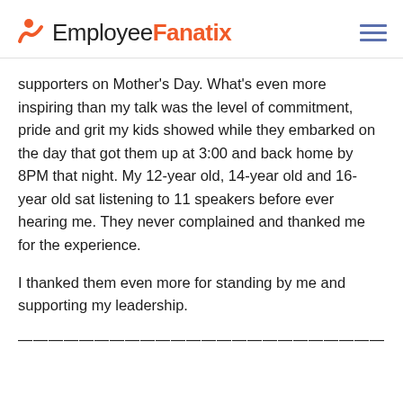EmployeeFanatix
supporters on Mother's Day. What's even more inspiring than my talk was the level of commitment, pride and grit my kids showed while they embarked on the day that got them up at 3:00 and back home by 8PM that night. My 12-year old, 14-year old and 16-year old sat listening to 11 speakers before ever hearing me. They never complained and thanked me for the experience.
I thanked them even more for standing by me and supporting my leadership.
————————————————————————